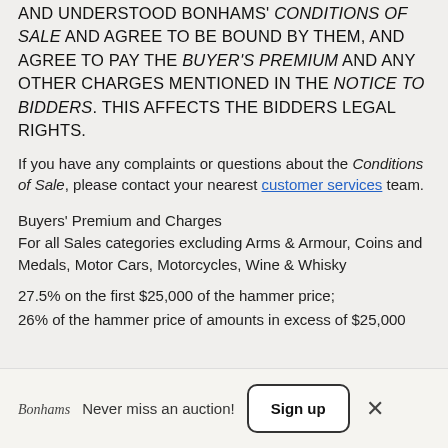AND UNDERSTOOD BONHAMS' CONDITIONS OF SALE AND AGREE TO BE BOUND BY THEM, AND AGREE TO PAY THE BUYER'S PREMIUM AND ANY OTHER CHARGES MENTIONED IN THE NOTICE TO BIDDERS. THIS AFFECTS THE BIDDERS LEGAL RIGHTS.
If you have any complaints or questions about the Conditions of Sale, please contact your nearest customer services team.
Buyers' Premium and Charges
For all Sales categories excluding Arms & Armour, Coins and Medals, Motor Cars, Motorcycles, Wine & Whisky
27.5% on the first $25,000 of the hammer price; 26% of the hammer price of amounts in excess of $25,000
Bonhams  Never miss an auction!  Sign up